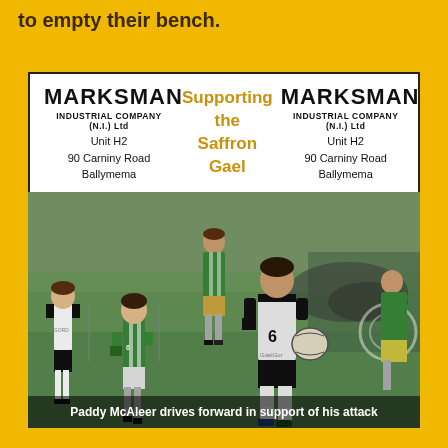to empty their bench.
[Figure (other): Advertisement banner for Marksman Industrial Company (N.I.) Ltd showing company name, address (Unit H2, 90 Carniny Road, Ballymema), and the text 'Supporting the Saffron Gael' in gold, repeated twice with logo on left and right sides.]
[Figure (photo): Action photo of Gaelic football match showing player number 6 in black and white (Paddy McAleer) driving forward with the ball while green and white opponents challenge him. Caption reads: Paddy McAleer drives forward in support of his attack]
Paddy McAleer drives forward in support of his attack